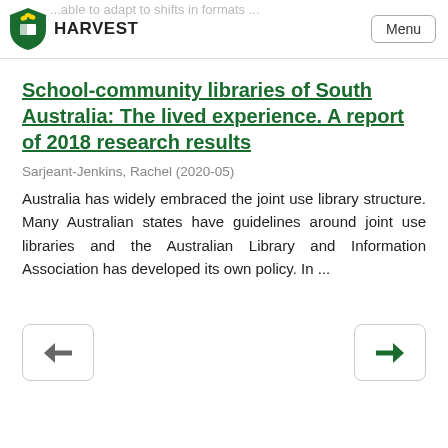HARVEST
School-community libraries of South Australia: The lived experience. A report of 2018 research results
Sarjeant-Jenkins, Rachel (2020-05)
Australia has widely embraced the joint use library structure. Many Australian states have guidelines around joint use libraries and the Australian Library and Information Association has developed its own policy. In ...